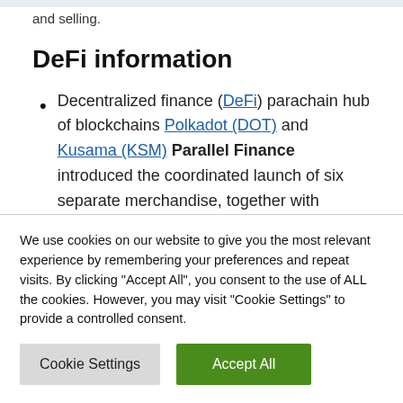and selling.
DeFi information
Decentralized finance (DeFi) parachain hub of blockchains Polkadot (DOT) and Kusama (KSM) Parallel Finance introduced the coordinated launch of six separate merchandise, together with Parallel's Automated Market
We use cookies on our website to give you the most relevant experience by remembering your preferences and repeat visits. By clicking "Accept All", you consent to the use of ALL the cookies. However, you may visit "Cookie Settings" to provide a controlled consent.